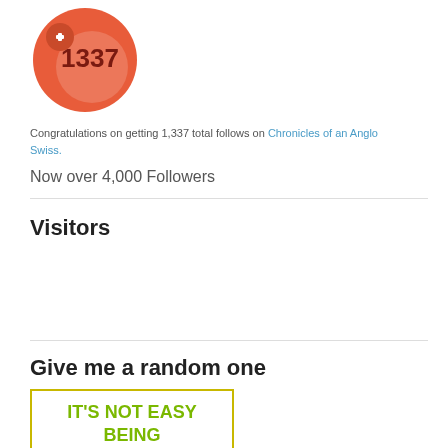[Figure (illustration): Orange circular badge with a white plus sign and the number +1337 in dark red text, with a lighter inner circle]
Congratulations on getting 1,337 total follows on Chronicles of an Anglo Swiss.
Now over 4,000 Followers
Visitors
Give me a random one
[Figure (illustration): Yellow-bordered box with green text reading IT'S NOT EASY BEING ARCHIVED. and a Kermit the Frog image below]